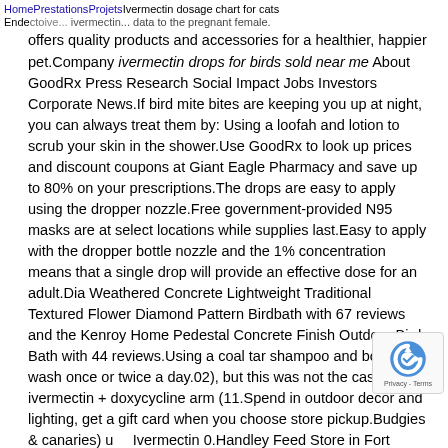Home Prestations Projets Ivermectin dosage chart for cats
Ende... ivermectin... data to the pregnant female. Company offers quality products and accessories for a healthier, happier pet.Company ivermectin drops for birds sold near me About GoodRx Press Research Social Impact Jobs Investors Corporate News.If bird mite bites are keeping you up at night, you can always treat them by: Using a loofah and lotion to scrub your skin in the shower.Use GoodRx to look up prices and discount coupons at Giant Eagle Pharmacy and save up to 80% on your prescriptions.The drops are easy to apply using the dropper nozzle.Free government-provided N95 masks are at select locations while supplies last.Easy to apply with the dropper bottle nozzle and the 1% concentration means that a single drop will provide an effective dose for an adult.Dia Weathered Concrete Lightweight Traditional Textured Flower Diamond Pattern Birdbath with 67 reviews and the Kenroy Home Pedestal Concrete Finish Outdoor Bird Bath with 44 reviews.Using a coal tar shampoo and body wash once or twice a day.02), but this was not the case for the ivermectin + doxycycline arm (11.Spend in outdoor decor and lighting, get a gift card when you choose store pickup.Budgies & canaries) use Ivermectin 0.Handley Feed Store in Fort Worth says ... sold ,000 worth of the dewormer in just two days.Pig... parrots), and fur, ear and mange mites and lice in rabbits